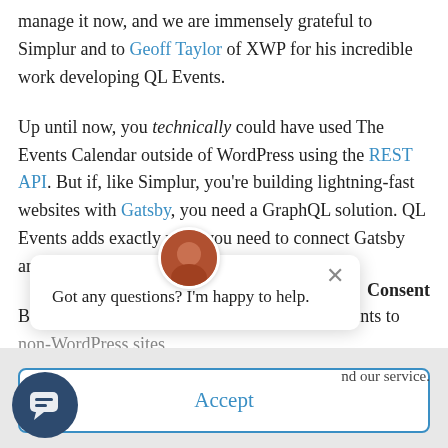manage it now, and we are immensely grateful to Simplur and to Geoff Taylor of XWP for his incredible work developing QL Events.
Up until now, you technically could have used The Events Calendar outside of WordPress using the REST API. But if, like Simplur, you’re building lightning-fast websites with Gatsby, you need a GraphQL solution. QL Events adds exactly what you need to connect Gatsby and The Events Calendar.
Below, we’ll dive into how you can use QL Events to ...non-WordPress sites
[Figure (screenshot): Chat popup with avatar photo, close button (x), and text: Got any questions? I’m happy to help.]
Consent
nd our service.
Accept
[Figure (other): Dark blue circular chat icon button with speech bubble icon in bottom left corner]